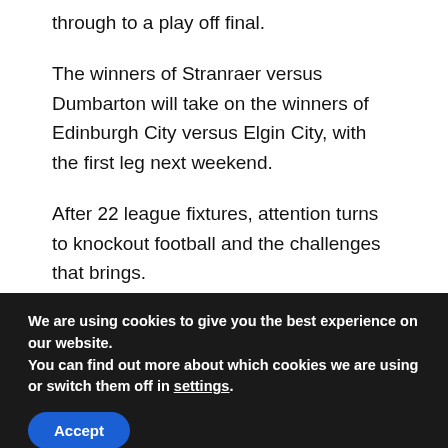through to a play off final.
The winners of Stranraer versus Dumbarton will take on the winners of Edinburgh City versus Elgin City, with the first leg next weekend.
After 22 league fixtures, attention turns to knockout football and the challenges that brings.
The manager said: “You are now going into cup football effectively.
[Figure (photo): A strip of a crowd photo showing many people]
We are using cookies to give you the best experience on our website.
You can find out more about which cookies we are using or switch them off in settings.
Accept